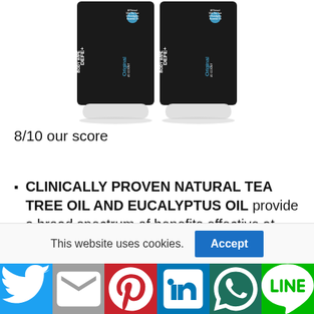[Figure (photo): Two black cylindrical containers of DEFE+ Body Wipes (Original, 40 count) side by side on white background, showing product label with blue text and Tea Tree & Eucalyptus Essential Oil branding.]
8/10 our score
Buy Now
CLINICALLY PROVEN NATURAL TEA TREE OIL AND EUCALYPTUS OIL provide a broad spectrum of benefits effective at helping wash
This website uses cookies.
[Figure (infographic): Social sharing bar with buttons for Twitter, Gmail/Mail, Pinterest, LinkedIn, WhatsApp, and LINE]